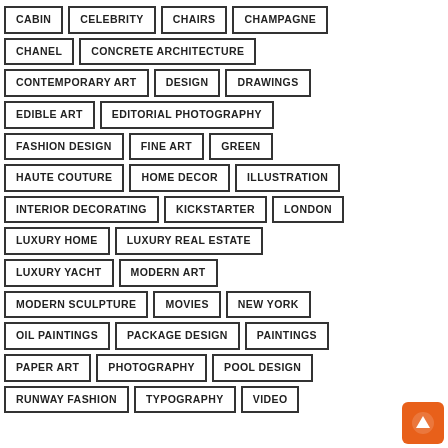CABIN
CELEBRITY
CHAIRS
CHAMPAGNE
CHANEL
CONCRETE ARCHITECTURE
CONTEMPORARY ART
DESIGN
DRAWINGS
EDIBLE ART
EDITORIAL PHOTOGRAPHY
FASHION DESIGN
FINE ART
GREEN
HAUTE COUTURE
HOME DECOR
ILLUSTRATION
INTERIOR DECORATING
KICKSTARTER
LONDON
LUXURY HOME
LUXURY REAL ESTATE
LUXURY YACHT
MODERN ART
MODERN SCULPTURE
MOVIES
NEW YORK
OIL PAINTINGS
PACKAGE DESIGN
PAINTINGS
PAPER ART
PHOTOGRAPHY
POOL DESIGN
RUNWAY FASHION
TYPOGRAPHY
VIDEO